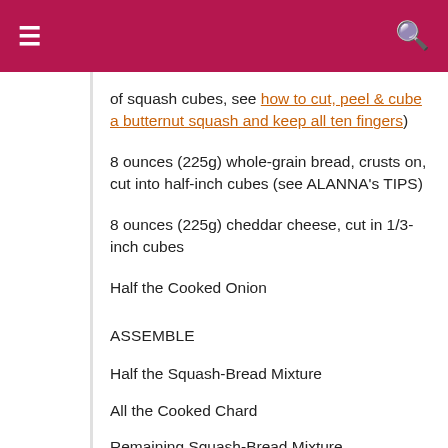≡  🔍
of squash cubes, see how to cut, peel & cube a butternut squash and keep all ten fingers)
8 ounces (225g) whole-grain bread, crusts on, cut into half-inch cubes (see ALANNA's TIPS)
8 ounces (225g) cheddar cheese, cut in 1/3-inch cubes
Half the Cooked Onion
ASSEMBLE
Half the Squash-Bread Mixture
All the Cooked Chard
Remaining Squash-Bread Mixture
All the Custard
CHARD In a large skillet on medium heat, melt the